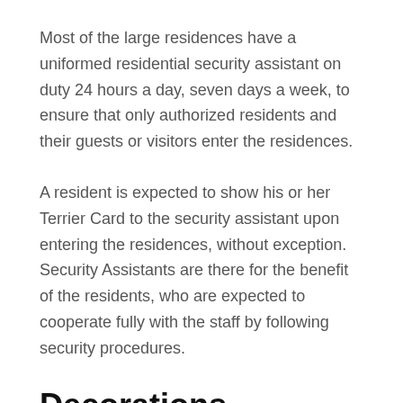Most of the large residences have a uniformed residential security assistant on duty 24 hours a day, seven days a week, to ensure that only authorized residents and their guests or visitors enter the residences.
A resident is expected to show his or her Terrier Card to the security assistant upon entering the residences, without exception. Security Assistants are there for the benefit of the residents, who are expected to cooperate fully with the staff by following security procedures.
Decorations
Construction